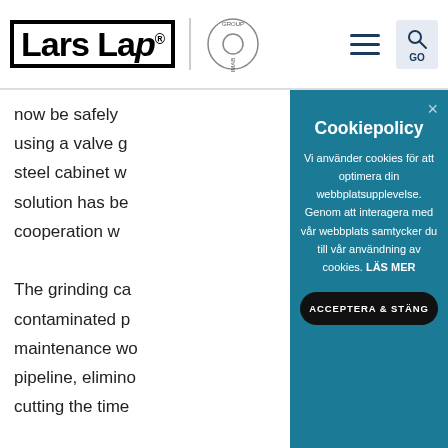[Figure (logo): LarsLap logo in bold black text with border, Vimab Group circular logo, hamburger menu icon, and search/GO icon in header]
now be safely
using a valve g
steel cabinet w
solution has be
cooperation w

The grinding ca
contaminated p
maintenance wo
pipeline, elimino
cutting the time
Cookiepolicy
Vi använder cookies för att optimera din webbplatsupplevelse. Genom att interagera med vår webbplats samtycker du till vår användning av cookies. LÄS MER
ACCEPTERA & STÄNG